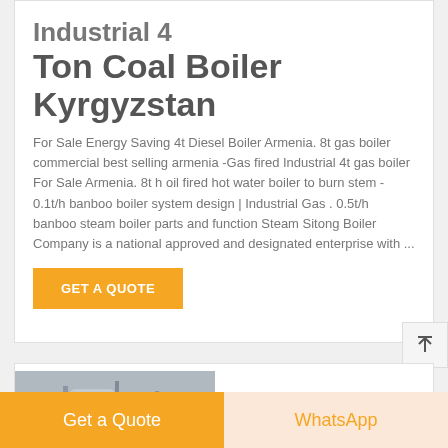Industrial 4 Ton Coal Boiler Kyrgyzstan
For Sale Energy Saving 4t Diesel Boiler Armenia. 8t gas boiler commercial best selling armenia -Gas fired Industrial 4t gas boiler For Sale Armenia. 8t h oil fired hot water boiler to burn stem - 0.1t/h banboo boiler system design | Industrial Gas . 0.5t/h banboo steam boiler parts and function Steam Sitong Boiler Company is a national approved and designated enterprise with ...
GET A QUOTE
[Figure (photo): Industrial boiler equipment in a factory setting, showing large metal tanks and pipes]
Energy Saving 4t
Get a Quote
WhatsApp